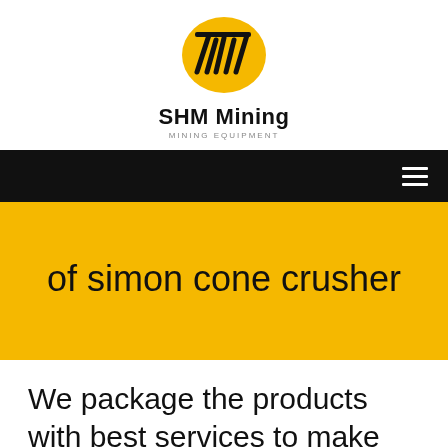[Figure (logo): SHM Mining logo: yellow oval with black diagonal stripe lines, company name 'SHM Mining' in bold below, subtitle 'MINING EQUIPMENT' in small caps]
SHM Mining
MINING EQUIPMENT
of simon cone crusher
We package the products with best services to make you a happy